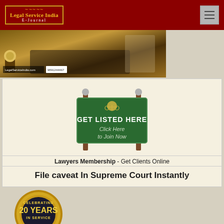Legal Service India E-Journal
[Figure (photo): Banner image showing a desk with a coffee cup and legal service india branding with phone number 9891244467]
[Figure (illustration): Get Listed Here - Click Here to Join Now sign board illustration]
Lawyers Membership - Get Clients Online
File caveat In Supreme Court Instantly
[Figure (illustration): Celebrating 20 Years In Service 2000-2020 gold badge]